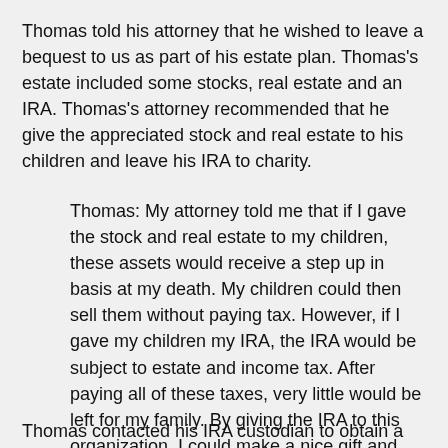Thomas told his attorney that he wished to leave a bequest to us as part of his estate plan. Thomas's estate included some stocks, real estate and an IRA. Thomas's attorney recommended that he give the appreciated stock and real estate to his children and leave his IRA to charity.
Thomas: My attorney told me that if I gave the stock and real estate to my children, these assets would receive a step up in basis at my death. My children could then sell them without paying tax. However, if I gave my children my IRA, the IRA would be subject to estate and income tax. After paying all of these taxes, very little would be left for my family. By giving the IRA to this organization, I could make a nice gift and avoid any additional tax for my estate and children.
Thomas contacted his IRA custodian to obtain a beneficiary